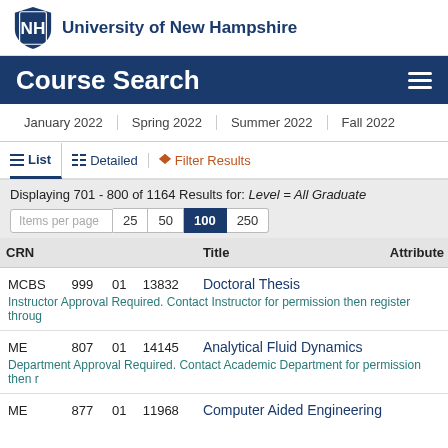University of New Hampshire
Course Search
January 2022 | Spring 2022 | Summer 2022 | Fall 2022
List | Detailed | Filter Results
Displaying 701 - 800 of 1164 Results for: Level = All Graduate
Items per page  25  50  100  250
|  |  |  | CRN | Title | Attribute |
| --- | --- | --- | --- | --- | --- |
| MCBS | 999 | 01 | 13832 | Doctoral Thesis |  |
| Instructor Approval Required. Contact Instructor for permission then register throug |  |  |  |  |  |
| ME | 807 | 01 | 14145 | Analytical Fluid Dynamics |  |
| Department Approval Required. Contact Academic Department for permission then r |  |  |  |  |  |
| ME | 877 | 01 | 11968 | Computer Aided Engineering |  |